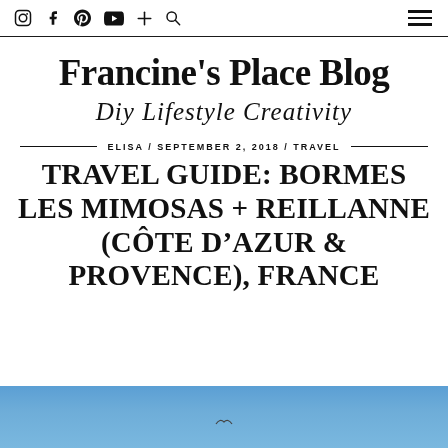Navigation bar with social icons (Instagram, Facebook, Pinterest, YouTube, Plus, Search) and hamburger menu
Francine's Place Blog
Diy Lifestyle Creativity
ELISA / SEPTEMBER 2, 2018 / TRAVEL
TRAVEL GUIDE: BORMES LES MIMOSAS + REILLANNE (CÔTE D'AZUR & PROVENCE), FRANCE
[Figure (photo): Blue sky background at the bottom of the page]